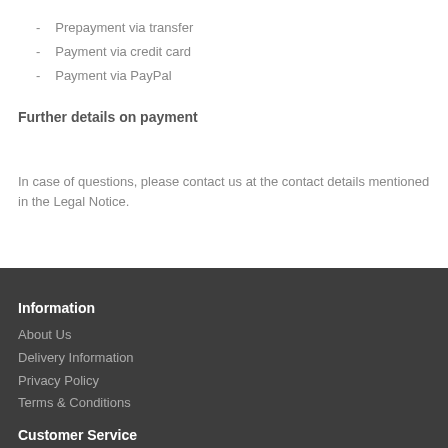- Prepayment via transfer
- Payment via credit card
- Payment via PayPal
Further details on payment
In case of questions, please contact us at the contact details mentioned in the Legal Notice.
Information
About Us
Delivery Information
Privacy Policy
Terms & Conditions
Customer Service